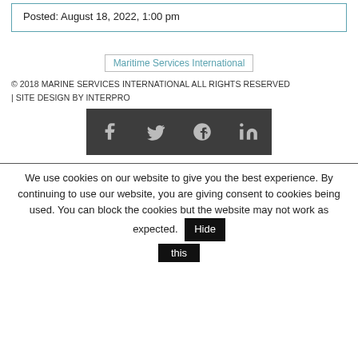Posted: August 18, 2022, 1:00 pm
[Figure (logo): Maritime Services International logo placeholder]
© 2018 MARINE SERVICES INTERNATIONAL ALL RIGHTS RESERVED
| SITE DESIGN BY INTERPRO
[Figure (other): Social media icons: Facebook, Twitter, Google+, LinkedIn]
We use cookies on our website to give you the best experience. By continuing to use our website, you are giving consent to cookies being used. You can block the cookies but the website may not work as expected. Hide this